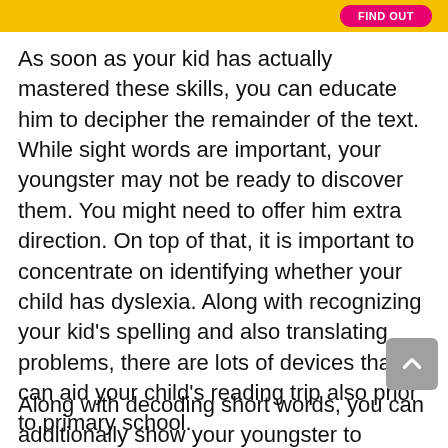[Figure (other): Yellow banner with pink 'FIND OUT' button at top of page]
As soon as your kid has actually mastered these skills, you can educate him to decipher the remainder of the text. While sight words are important, your youngster may not be ready to discover them. You might need to offer him extra direction. On top of that, it is important to concentrate on identifying whether your child has dyslexia. Along with recognizing your kid’s spelling and also translating problems, there are lots of devices that can aid your child’s reading trip also prior to primary school.
Along with decoding short words, you can additionally show your youngster to